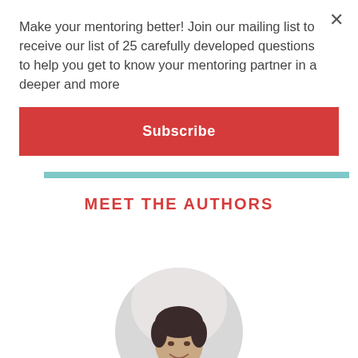Make your mentoring better! Join our mailing list to receive our list of 25 carefully developed questions to help you get to know your mentoring partner in a deeper and more
Subscribe
MEET THE AUTHORS
[Figure (photo): Circular headshot of a woman with short dark hair, smiling, wearing a dark top, photographed against a light background]